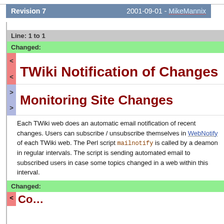Revision 7   2001-09-01 - MikeMannix
Line: 1 to 1
Changed:
TWiki Notification of Changes
Monitoring Site Changes
Each TWiki web does an automatic email notification of recent changes. Users can subscribe / unsubscribe themselves in WebNotify of each TWiki web. The Perl script mailnotify is called by a deamon in regular intervals. The script is sending automated email to subscribed users in case some topics changed in a web within this interval.
Changed: